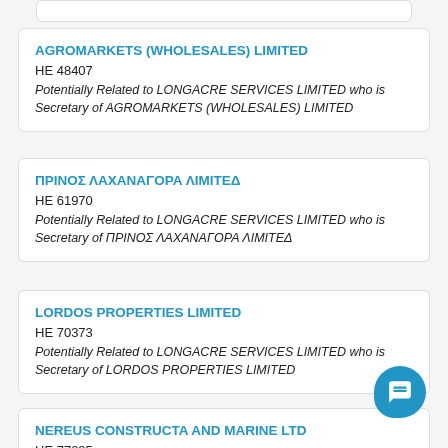(partial card top)
AGROMARKETS (WHOLESALES) LIMITED
HE 48407
Potentially Related to LONGACRE SERVICES LIMITED who is Secretary of AGROMARKETS (WHOLESALES) LIMITED
ΠΡΙΝΟΣ ΛΑΧΑΝΑΓΟΡΑ ΛΙΜΙΤΕΔ
HE 61970
Potentially Related to LONGACRE SERVICES LIMITED who is Secretary of ΠΡΙΝΟΣ ΛΑΧΑΝΑΓΟΡΑ ΛΙΜΙΤΕΔ
LORDOS PROPERTIES LIMITED
HE 70373
Potentially Related to LONGACRE SERVICES LIMITED who is Secretary of LORDOS PROPERTIES LIMITED
NEREUS CONSTRUCTA AND MARINE LTD
HE 77025